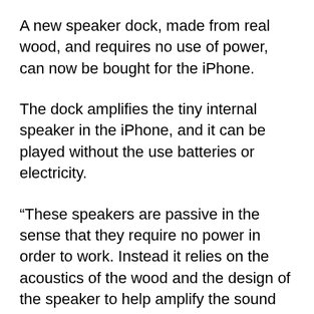A new speaker dock, made from real wood, and requires no use of power, can now be bought for the iPhone.
The dock amplifies the tiny internal speaker in the iPhone, and it can be played without the use batteries or electricity.
“These speakers are passive in the sense that they require no power in order to work. Instead it relies on the acoustics of the wood and the design of the speaker to help amplify the sound coming out from it,” said Urbergizmo.com. “Of course you shouldn’t expect to old a rave or house party with these speakers, although that would be pretty cool, but for personal listening and just for decorative